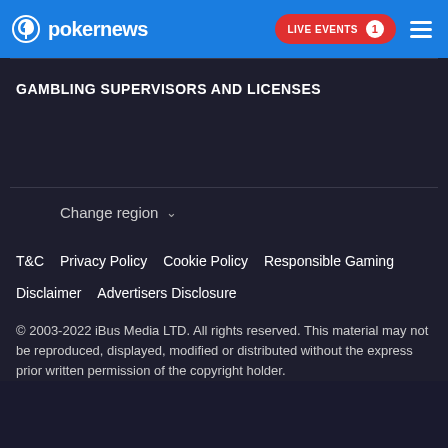pokernews — LIVE EVENTS 1
GAMBLING SUPERVISORS AND LICENSES
Change region
T&C   Privacy Policy   Cookie Policy   Responsible Gaming   Disclaimer   Advertisers Disclosure
© 2003-2022 iBus Media LTD. All rights reserved. This material may not be reproduced, displayed, modified or distributed without the express prior written permission of the copyright holder.